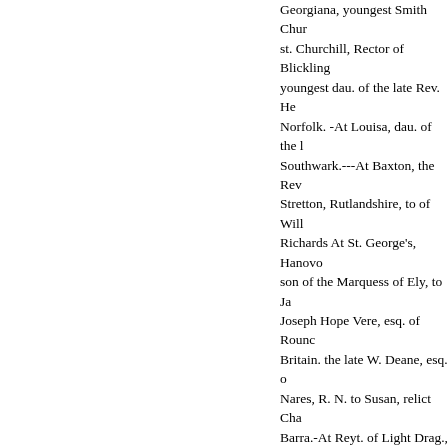Georgiana, youngest Smith Chur st. Churchill, Rector of Blickling youngest dau. of the late Rev. He Norfolk. -At Louisa, dau. of the l Southwark.---At Baxton, the Rev Stretton, Rutlandshire, to of Will Richards At St. George's, Hanovo son of the Marquess of Ely, to Ja Joseph Hope Vere, esq. of Rounc Britain. the late W. Deane, esq. o Nares, R. N. to Susan, relict Cha Barra.-At Reyt. of Light Drag., e Louisa-Maria, only dau, of the la
ev. William Sharpe, Capt. Burges The Hon. Horace W. B. Cochran Dundonald, to Frances-Jacobina, Carnegie, esq. mere, Wilts.
-At Paddington, the Rev. Chas Oxf., to Ade. Mitcham, Surrey, th Vicar of Mitcham, to Elizabeth M the late Rev. Richard Cran. G.S., place. Tiverton, Devon, to Anne esq. of Leicester. -AtBishon's M